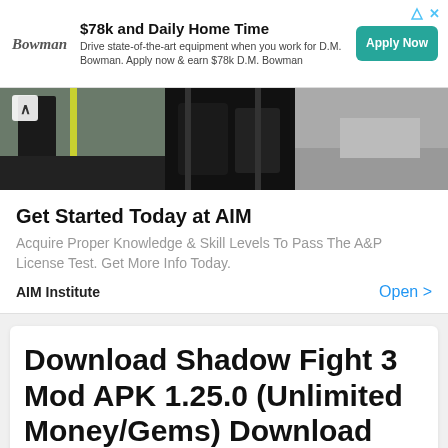[Figure (screenshot): Top advertisement banner for D.M. Bowman trucking company with logo, headline '$78k and Daily Home Time', description text, and 'Apply Now' teal button]
[Figure (photo): Photo strip showing aviation/aircraft landing gear and ground crew on tarmac, with up-arrow navigation icon at left]
[Figure (screenshot): Advertisement for AIM Institute with headline 'Get Started Today at AIM', description about A&P License Test, and 'Open >' link]
Download Shadow Fight 3 Mod APK 1.25.0 (Unlimited Money/Gems) Download